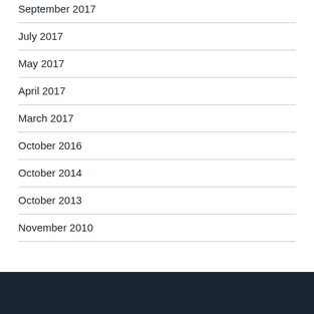September 2017
July 2017
May 2017
April 2017
March 2017
October 2016
October 2014
October 2013
November 2010